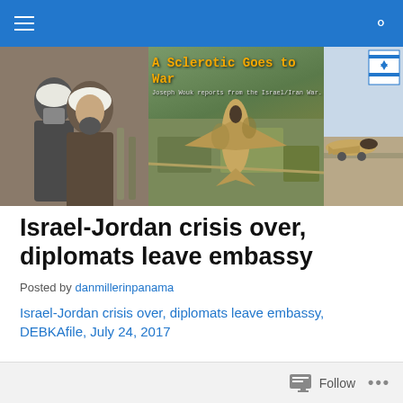Navigation bar with menu and search icons
[Figure (illustration): Blog banner: 'A Sclerotic Goes to War – Joseph Wouk reports from the Israel/Iran War.' Three-panel composite: left panel shows two Middle Eastern leaders in traditional dress, center panel shows an Israeli Air Force jet from above in desert terrain, right panel shows a fighter jet on a runway with an Israeli flag.]
Israel-Jordan crisis over, diplomats leave embassy
Posted by danmillerinpanama
Israel-Jordan crisis over, diplomats leave embassy, DEBKAfile, July 24, 2017
Follow   ...